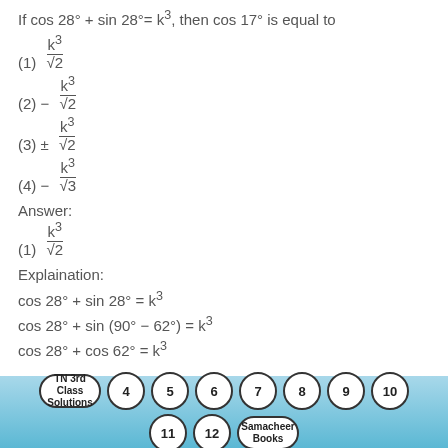If cos 28° + sin 28°= k³, then cos 17° is equal to
(1) k³ / √2
(2) − k³ / √2
(3) ± k³ / √2
(4) − k³ / √3
Answer:
(1) k³ / √2
Explaination:
cos 28° + sin 28° = k³
cos 28° + sin (90° − 62°) = k³
cos 28° + cos 62° = k³
[Figure (infographic): Navigation footer bar with circular buttons: TN 3rd Class Solutions, 4, 5, 6, 7, 8, 9, 10, 11, 12, Samacheer Books on a blue gradient background]